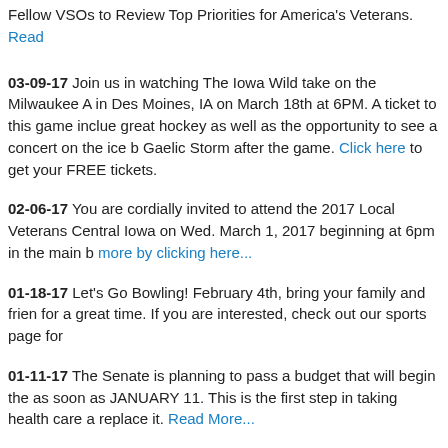Fellow VSOs to Review Top Priorities for America's Veterans. Read
03-09-17 Join us in watching The Iowa Wild take on the Milwaukee A in Des Moines, IA on March 18th at 6PM. A ticket to this game inclue great hockey as well as the opportunity to see a concert on the ice b Gaelic Storm after the game. Click here to get your FREE tickets.
02-06-17 You are cordially invited to attend the 2017 Local Veterans Central Iowa on Wed. March 1, 2017 beginning at 6pm in the main b more by clicking here...
01-18-17 Let's Go Bowling! February 4th, bring your family and frien for a great time. If you are interested, check out our sports page for
01-11-17 The Senate is planning to pass a budget that will begin the as soon as JANUARY 11. This is the first step in taking health care a replace it. Read More...
10-26-16 VETERANS DAY CEREMONY AT THE IOWA CAPITOL C their families are invited to the annual Veterans Day Ceremony at th